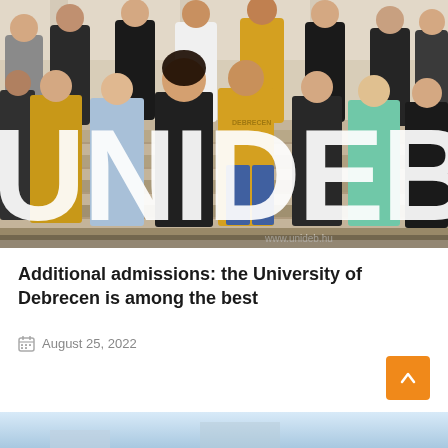[Figure (photo): Group of university students standing on steps inside a building, holding large white letters spelling UNIDEB. Students are wearing university hoodies in dark green, yellow/gold, black, and mint/teal colors. The website URL www.unideb.hu is visible at the bottom of the photo.]
Additional admissions: the University of Debrecen is among the best
August 25, 2022